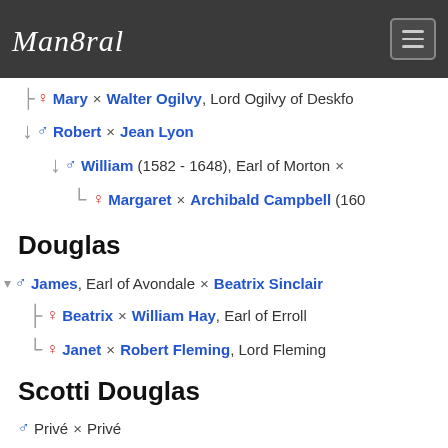Man8ral [logo] [hamburger menu]
♀ Mary × Walter Ogilvy, Lord Ogilvy of Deskfo...
↓ ♂ Robert × Jean Lyon
↓ ♂ William (1582 - 1648), Earl of Morton ×
└ ♀ Margaret × Archibald Campbell (160...
Douglas
▾ ♂ James, Earl of Avondale × Beatrix Sinclair
├ ♀ Beatrix × William Hay, Earl of Erroll
└ ♀ Janet × Robert Fleming, Lord Fleming
Scotti Douglas
♂ Privé × Privé